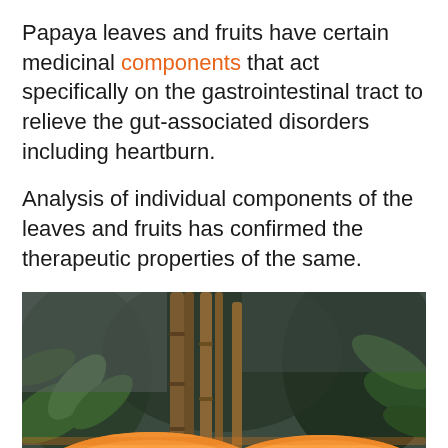Papaya leaves and fruits have certain medicinal components that act specifically on the gastrointestinal tract to relieve the gut-associated disorders including heartburn.
Analysis of individual components of the leaves and fruits has confirmed the therapeutic properties of the same.
[Figure (photo): Close-up photograph of two halves of a papaya showing orange flesh and black seeds, with green tropical plants and brown bamboo-like stems in the background.]